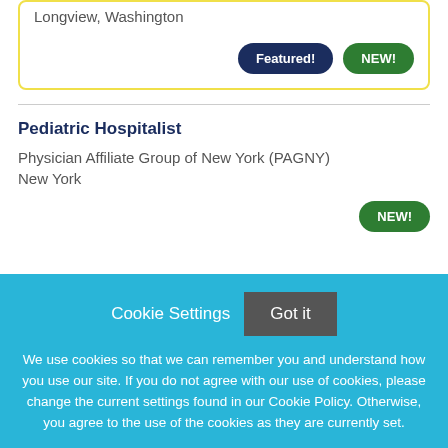Longview, Washington
Featured! NEW!
Pediatric Hospitalist
Physician Affiliate Group of New York (PAGNY)
New York
NEW!
Cookie Settings Got it
We use cookies so that we can remember you and understand how you use our site. If you do not agree with our use of cookies, please change the current settings found in our Cookie Policy. Otherwise, you agree to the use of the cookies as they are currently set.